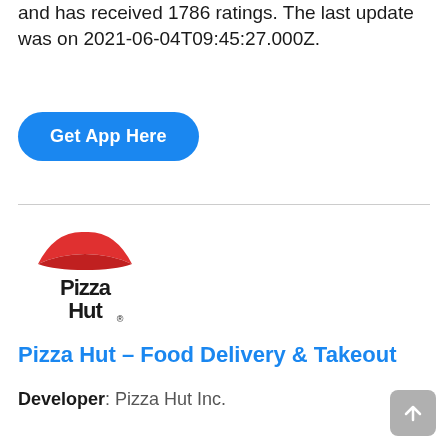and has received 1786 ratings. The last update was on 2021-06-04T09:45:27.000Z.
Get App Here
[Figure (logo): Pizza Hut logo with red roof/hat shape above the text 'Pizza Hut' in bold black stylized font]
Pizza Hut – Food Delivery & Takeout
Developer: Pizza Hut Inc.